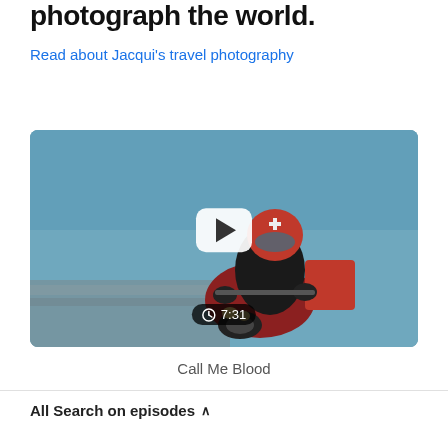photograph the world.
Read about Jacqui's travel photography
[Figure (screenshot): Video thumbnail showing a motorcyclist in a red helmet with a cross emblem, riding on a road. A white play button overlay is centered on the image, and a duration badge showing a clock icon and '7:31' is displayed at the bottom center.]
Call Me Blood
All Search on episodes ^